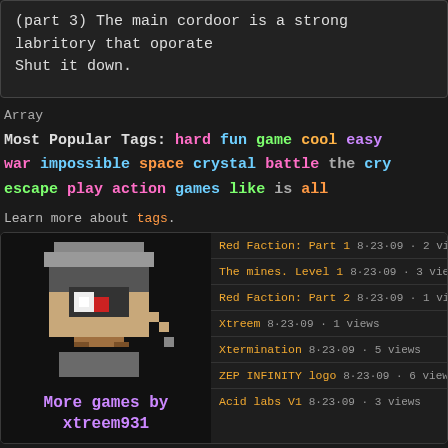(part 3) The main cordoor is a strong labritory that oporate... Shut it down.
Array
Most Popular Tags: hard fun game cool easy war impossible space crystal battle the crys escape play action games like is all
Learn more about tags.
[Figure (illustration): Pixel art character - a boxy creature wearing a helmet with a red eye, on dark background]
More games by xtreem931
Red Faction: Part 1  8·23·09 · 2 views
The mines. Level 1  8·23·09 · 3 views
Red Faction: Part 2  8·23·09 · 1 views
Xtreem  8·23·09 · 1 views
Xtermination  8·23·09 · 5 views
ZEP INFINITY logo  8·23·09 · 6 views
Acid labs V1  8·23·09 · 3 views